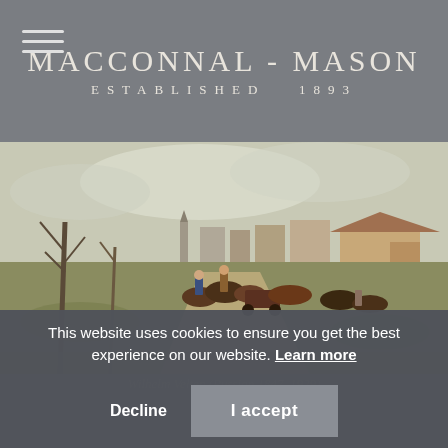MACCONNAL - MASON ESTABLISHED 1893
[Figure (photo): A landscape oil painting depicting a rural country road scene with horsemen and a horse-drawn carriage traveling through a flat countryside with bare trees, a village with a church steeple visible in the background, and farmhouse buildings on the right side.]
Wilhelm Velten (Russian 1847–1929)
This website uses cookies to ensure you get the best experience on our website. Learn more
Decline   I accept